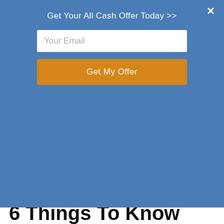Get Your All Cash Offer Today >>
Your Email
Get My Offer
[Figure (logo): TNHouseBuyer.com logo with house rooftop graphic above text reading 'TNHouseBuyer.com' and tagline 'Cash Buyers  Quick Close  Any Condition' inside a rectangular border]
Call Us! (615) 544-5333
Get A Cash Offer Today    Our Company    More ▾
6 Things To Know